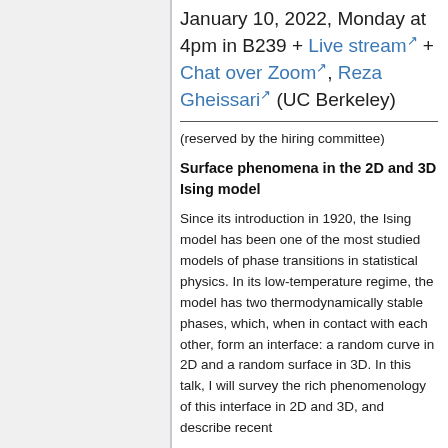January 10, 2022, Monday at 4pm in B239 + Live stream + Chat over Zoom, Reza Gheissari (UC Berkeley)
(reserved by the hiring committee)
Surface phenomena in the 2D and 3D Ising model
Since its introduction in 1920, the Ising model has been one of the most studied models of phase transitions in statistical physics. In its low-temperature regime, the model has two thermodynamically stable phases, which, when in contact with each other, form an interface: a random curve in 2D and a random surface in 3D. In this talk, I will survey the rich phenomenology of this interface in 2D and 3D, and describe recent